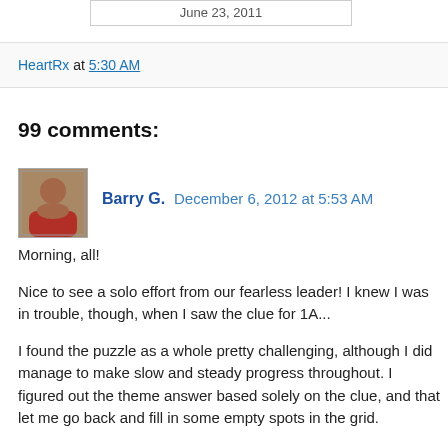June 23, 2011
HeartRx at 5:30 AM
99 comments:
Barry G.  December 6, 2012 at 5:53 AM
Morning, all!
Nice to see a solo effort from our fearless leader! I knew I was in trouble, though, when I saw the clue for 1A...
I found the puzzle as a whole pretty challenging, although I did manage to make slow and steady progress throughout. I figured out the theme answer based solely on the clue, and that let me go back and fill in some empty spots in the grid.
The hardest spot was the NW. In addition to the insanely hard clue for SAABS, I've never heard of a CABBAGE ROSE before,